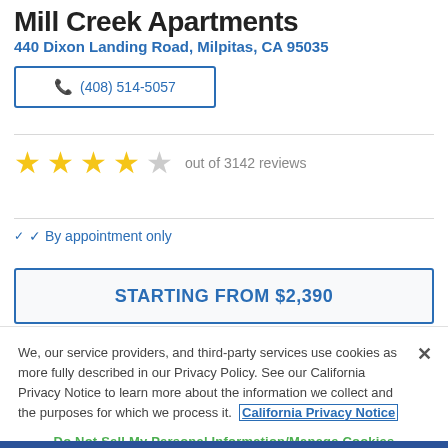Mill Creek Apartments
440 Dixon Landing Road, Milpitas, CA 95035
(408) 514-5057
4 out of 3142 reviews
By appointment only
STARTING FROM $2,390
We, our service providers, and third-party services use cookies as more fully described in our Privacy Policy. See our California Privacy Notice to learn more about the information we collect and the purposes for which we process it. California Privacy Notice
Do Not Sell My Personal Information/Manage Cookies